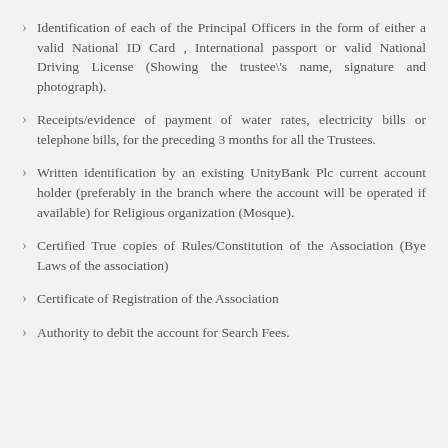Identification of each of the Principal Officers in the form of either a valid National ID Card , International passport or valid National Driving License (Showing the trustee\'s name, signature and photograph).
Receipts/evidence of payment of water rates, electricity bills or telephone bills, for the preceding 3 months for all the Trustees.
Written identification by an existing UnityBank Plc current account holder (preferably in the branch where the account will be operated if available) for Religious organization (Mosque).
Certified True copies of Rules/Constitution of the Association (Bye Laws of the association)
Certificate of Registration of the Association
Authority to debit the account for Search Fees.